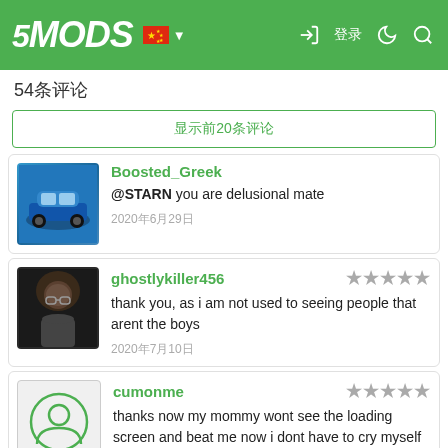5MODS [Chinese flag] [icons]
54条评论
显示前20条评论
Boosted_Greek
@STARN you are delusional mate
2020年6月29日
ghostlykiller456
thank you, as i am not used to seeing people that arent the boys
2020年7月10日
cumonme
thanks now my mommy wont see the loading screen and beat me now i dont have to cry myself to [X] ep and be a disappointment
2020年9月10日